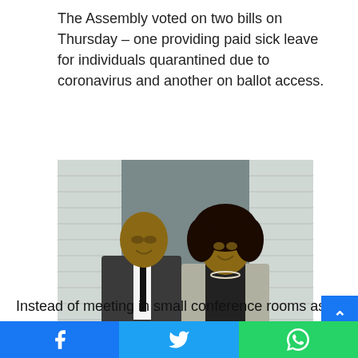The Assembly voted on two bills on Thursday – one providing paid sick leave for individuals quarantined due to coronavirus and another on ballot access.
[Figure (photo): Two people posing together indoors — a man in a dark suit with a black tie and a woman in a light grey blazer, standing in front of a curtained background.]
Reyes lauded responses of leaders, including Speaker Carl Heastie.
Instead of meeting in small conference rooms as is the norm, Reyes said members discussed the bills in a